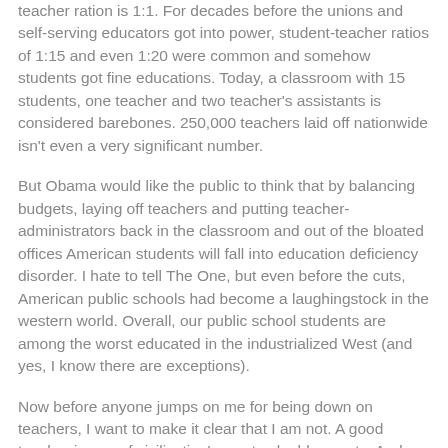teacher ration is 1:1. For decades before the unions and self-serving educators got into power, student-teacher ratios of 1:15 and even 1:20 were common and somehow students got fine educations. Today, a classroom with 15 students, one teacher and two teacher's assistants is considered barebones. 250,000 teachers laid off nationwide isn't even a very significant number.
But Obama would like the public to think that by balancing budgets, laying off teachers and putting teacher-administrators back in the classroom and out of the bloated offices American students will fall into education deficiency disorder. I hate to tell The One, but even before the cuts, American public schools had become a laughingstock in the western world. Overall, our public school students are among the worst educated in the industrialized West (and yes, I know there are exceptions).
Now before anyone jumps on me for being down on teachers, I want to make it clear that I am not. A good teacher is one of civilization's most valuable assets. And even in our miserable public schools (particularly the urban ones) there are teachers who do extraordinary